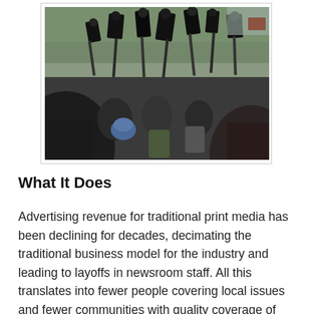[Figure (photo): A crowd of journalists and camera operators holding up video cameras and recording equipment, photographed from a low angle against a backdrop of trees and buildings.]
What It Does
Advertising revenue for traditional print media has been declining for decades, decimating the traditional business model for the industry and leading to layoffs in newsroom staff. All this translates into fewer people covering local issues and fewer communities with quality coverage of local and local politics and other critical information...